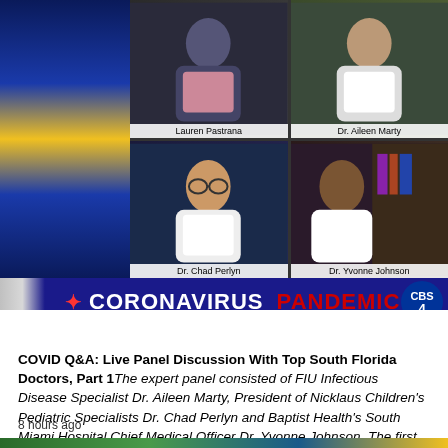[Figure (screenshot): TV news broadcast screenshot showing four panelists in a 2x2 grid: Lauren Pastrana (top left), Dr. Aileen Marty (top right), Dr. Chad Perlyn (bottom left), Dr. Yvonne Johnson (bottom right). Headline bar reads CORONAVIRUS PANDEMIC. Time shows 7:05 88°. CBS4 logo visible.]
COVID Q&A: Live Panel Discussion With Top South Florida Doctors, Part 1 The expert panel consisted of FIU Infectious Disease Specialist Dr. Aileen Marty, President of Nicklaus Children's Pediatric Specialists Dr. Chad Perlyn and Baptist Health's South Miami Hospital Chief Medical Officer Dr. Yvonne Johnson. The first round of questions centered on fertility as well as the science behind the vaccine.
8 hours ago
[Figure (photo): Partial image at bottom of page, appears to be an outdoor scene with green and blue colors.]